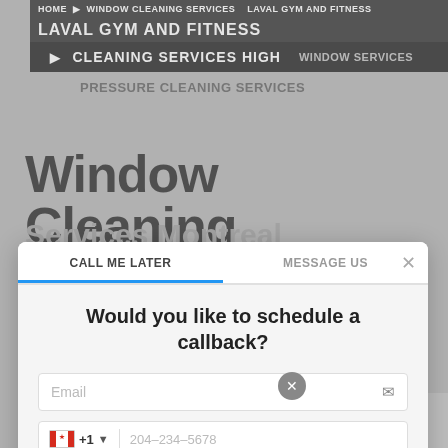HOME ▶ WINDOW CLEANING SERVICES LAVAL GYM AND FITNESS
▶ CLEANING SERVICES HIGH PRESSURE CLEANING SERVICES
Window Cleaning
Services Montreal
It seems like cleaning a window requires a lot of skill, experience, and professionalism to assure the best window cleaning. Not to mention, Menage Total is the best cleaning concern which offers its customers the Professional Window Cleaning Laval. A dirty and spotty mirror or window gives an awkward look. If you want to maintain house, apartment, or office windows clean, contact Menage Total and let it know about your needs. Menage Total provides you Window
[Figure (screenshot): Modal dialog overlay with two tabs 'CALL ME LATER' and 'MESSAGE US', a close button, heading 'Would you like to schedule a callback?', email input field, phone number input with Canadian flag and +1 prefix showing placeholder 204-234-5678, date selector showing Mon Aug 22, time selector showing 13:00, and a circular close button]